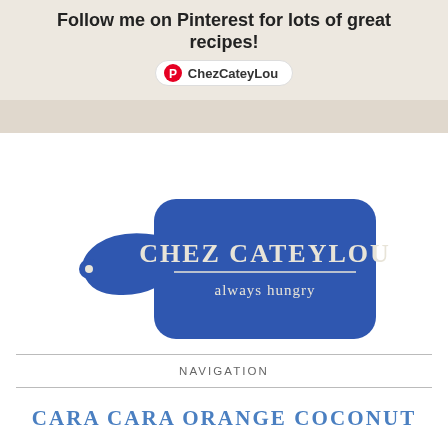Follow me on Pinterest for lots of great recipes! ChezCateyLou
[Figure (logo): Chez CateyLou logo — blue cutting board shape with text 'CHEZ CATEYLOU always hungry']
NAVIGATION
CARA CARA ORANGE COCONUT